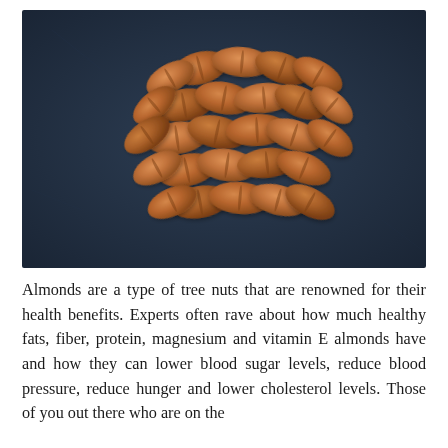[Figure (photo): A pile of raw almonds arranged on a dark navy/slate blue background, photographed from above.]
Almonds are a type of tree nuts that are renowned for their health benefits. Experts often rave about how much healthy fats, fiber, protein, magnesium and vitamin E almonds have and how they can lower blood sugar levels, reduce blood pressure, reduce hunger and lower cholesterol levels. Those of you out there who are on the